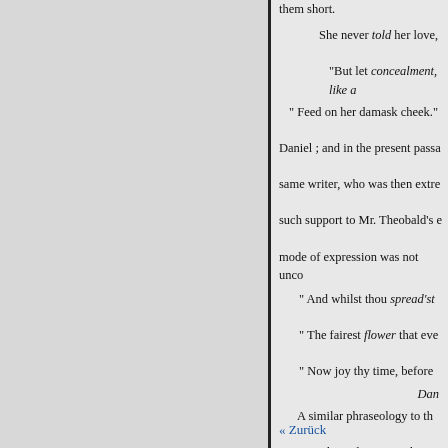them short.
She never told her love,
"But let concealment, like a
" Feed on her damask cheek." Daniel ; and in the present passage same writer, who was then extre such support to Mr. Theobald's e mode of expression was not unco
" And whilst thou spread'st
" The fairest flower that eve
" Now joy thy time, before
Dan
A similar phraseology to th Daniel's 14th, 320, 44th, an
1 Is the day so young?] i. e. is popular) I meet with in Acolastu nyghte to come." Steevens. VOL
« Zurück